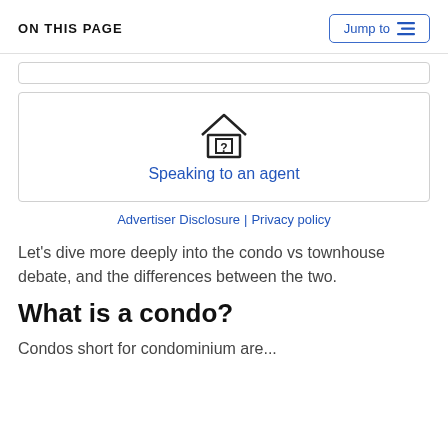ON THIS PAGE
[Figure (other): Jump to button with list icon]
[Figure (other): Speaking to an agent card with house icon]
Advertiser Disclosure | Privacy policy
Let's dive more deeply into the condo vs townhouse debate, and the differences between the two.
What is a condo?
Condos short for condominium are...